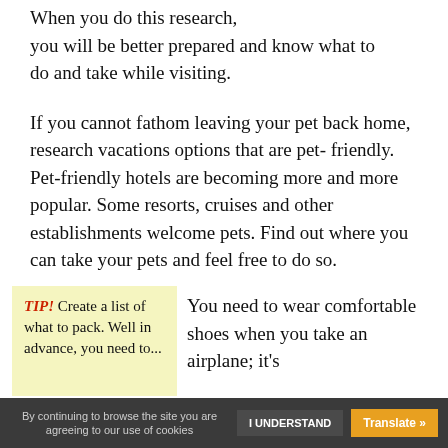When you do this research, you will be better prepared and know what to do and take while visiting.
If you cannot fathom leaving your pet back home, research vacations options that are pet-friendly. Pet-friendly hotels are becoming more and more popular. Some resorts, cruises and other establishments welcome pets. Find out where you can take your pets and feel free to do so.
TIP! Create a list of what to pack. Well in advance, you need to...
You need to wear comfortable shoes when you take an airplane; it's...
By continuing to browse the site you are agreeing to our use of cookies   I UNDERSTAND   Translate »